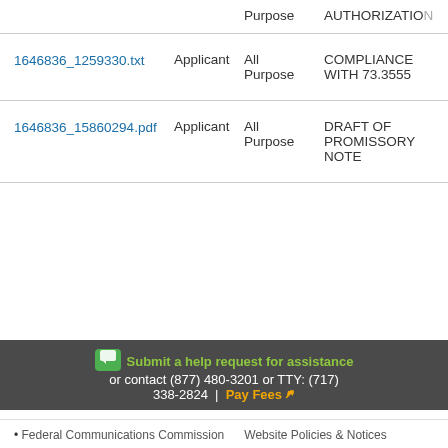| File | Who | Date | Description |
| --- | --- | --- | --- |
| (partial row top) | Applicant | All Purpose | AUTHORIZATION |
| 1646836_1259330.txt | Applicant | All Purpose | COMPLIANCE WITH 73.3555 |
| 1646836_15860294.pdf | Applicant | All Purpose | DRAFT OF PROMISSORY NOTE |
Submit a help request for assistance or contact (877) 480-3201 or TTY: (717) 338-2824 | Pay Fees
Federal Communications Commission  Website Policies & Notices